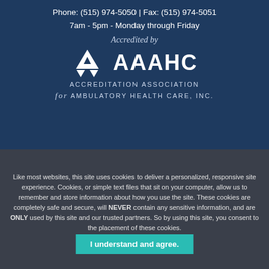Phone: (515) 974-5050 | Fax: (515) 974-5051
7am - 5pm - Monday through Friday
Accredited by
[Figure (logo): AAAHC Accreditation Association for Ambulatory Health Care, Inc. logo with three white triangles arranged in a larger triangle formation]
Like most websites, this site uses cookies to deliver a personalized, responsive site experience. Cookies, or simple text files that sit on your computer, allow us to remember and store information about how you use the site. These cookies are completely safe and secure, will NEVER contain any sensitive information, and are ONLY used by this site and our trusted partners. So by using this site, you consent to the placement of these cookies.
© 2022 [company name], LLC
I understand and agree.